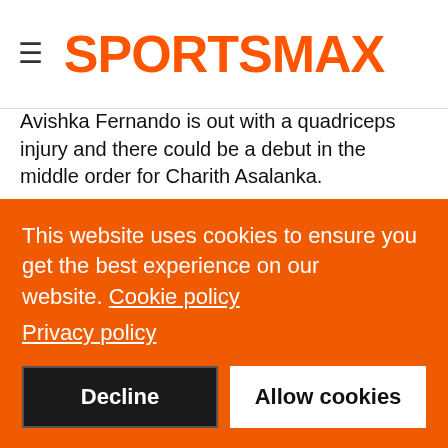SPORTSMAX
Avishka Fernando is out with a quadriceps injury and there could be a debut in the middle order for Charith Asalanka.
The hosts will begin as strong favourites and might even have their eye on a quick victory before the prospect of crowds drifting away to watch the England v Germany last-16 encounter at Euro 2020, which kicks off at 17:00 local time.
England's previous 50-over match against Sri Lanka on home soil ended in a surprise defeat at Headingley during the group stage of their ultimately triumphant 2019 World Cup campaign.
This website uses cookies to ensure you get the best experience on our website. Cookie policy
Privacy policy
Decline | Allow cookies